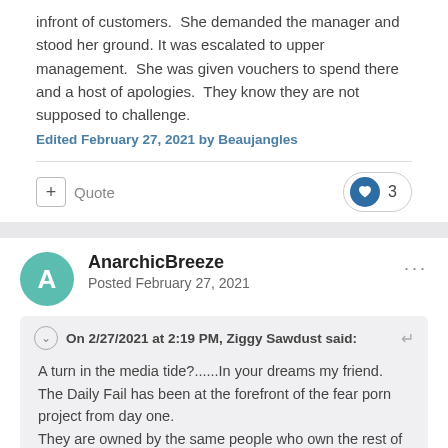infront of customers.  She demanded the manager and stood her ground. It was escalated to upper management.  She was given vouchers to spend there and a host of apologies.  They know they are not supposed to challenge.
Edited February 27, 2021 by Beaujangles
Quote  3
AnarchicBreeze
Posted February 27, 2021
On 2/27/2021 at 2:19 PM, Ziggy Sawdust said:
A turn in the media tide?......In your dreams my friend.
The Daily Fail has been at the forefront of the fear porn project from day one.
They are owned by the same people who own the rest of